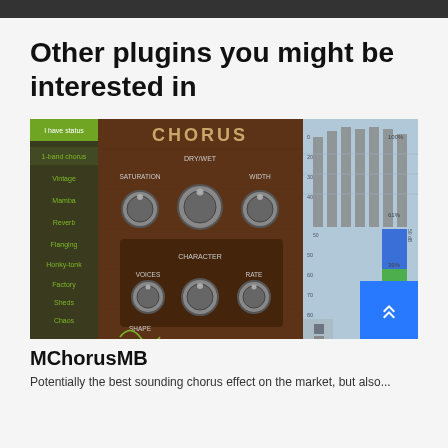Other plugins you might be interested in
[Figure (screenshot): Screenshot of MChorusMB plugin interface showing Chorus controls (Saturation, Dry/Wet, Width, Voices, Character, Rate, Shape) on a dark wood-themed UI on the left, and a multiband spectrum/bar chart display on the right.]
MChorusMB
Potentially the best sounding chorus effect on the market, but also...